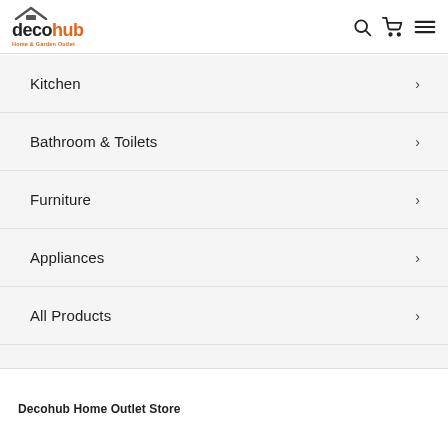decohub Home & Garden Outlet
Kitchen
Bathroom & Toilets
Furniture
Appliances
All Products
Finance & Credit
About Us
Decohub Home Outlet Store